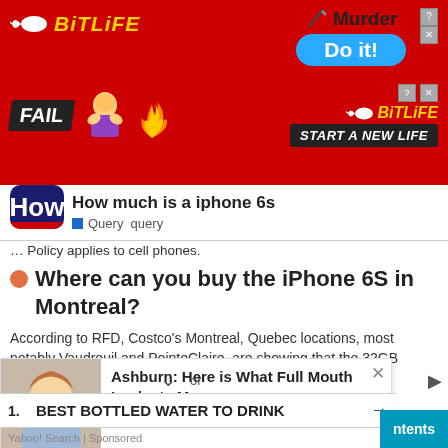[Figure (screenshot): BitLife game advertisement banner — red background with BitLife logo (sperm icon + yellow text), 'Murder Do it!' button in blue pill shape, 'FAIL' badge, animated character, second BitLife logo, 'START A NEW LIFE' button, close and help buttons]
[Figure (logo): How.com logo — dark blue rounded rectangle with white 'How' text and red underline stripe]
How much is a iphone 6s
Query  query
Policy applies to cell phones.
Where can you buy the iPhone 6S in Montreal?
According to RFD, Costco's Montreal, Quebec locations, most notably Vaudreuil and PointeClaire, are showing that the 32GB
g in 0.97
m Brossard.
[Figure (screenshot): Overlay ad: woman at dentist with text 'Ashburn: Here is What Full Mouth Implants Ma...' and subtitle 'Full Mouth Dental Imp... | Sponsored', with X close button]
or
1.  BEST BOTTLED WATER TO DRINK  →
Yahoo! Search | Sponsored
ntents